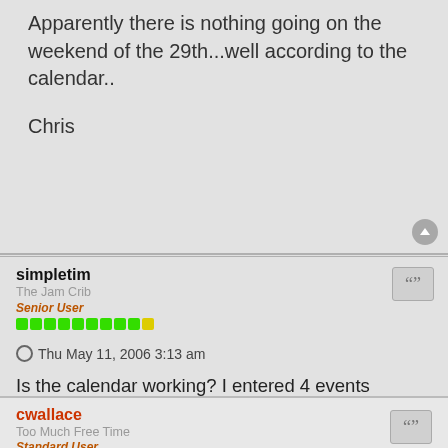Apparently there is nothing going on the weekend of the 29th...well according to the calendar..
Chris
simpletim
The Jam Crib
Senior User
Thu May 11, 2006 3:13 am
Is the calendar working? I entered 4 events yesterday morning and they still don't appear. Any clue why not?
http://www.jamcrib.com
http://www.myspace.com/jamcrib
cwallace
Too Much Free Time
Standard User